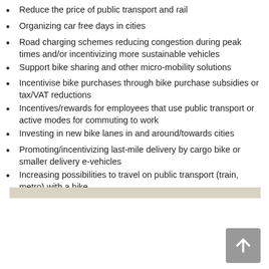Reduce the price of public transport and rail
Organizing car free days in cities
Road charging schemes reducing congestion during peak times and/or incentivizing more sustainable vehicles
Support bike sharing and other micro-mobility solutions
Incentivise bike purchases through bike purchase subsidies or tax/VAT reductions
Incentives/rewards for employees that use public transport or active modes for commuting to work
Investing in new bike lanes in and around/towards cities
Promoting/incentivizing last-mile delivery by cargo bike or smaller delivery e-vehicles
Increasing possibilities to travel on public transport (train, metro) with a bike.